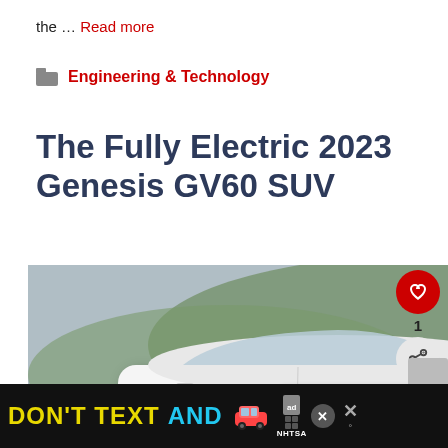the … Read more
Engineering & Technology
The Fully Electric 2023 Genesis GV60 SUV
[Figure (photo): White 2023 Genesis GV60 SUV electric vehicle driving on a road with greenery in background]
[Figure (infographic): Advertisement bar at bottom: DON'T TEXT AND [car emoji] with NHTSA branding on dark background]